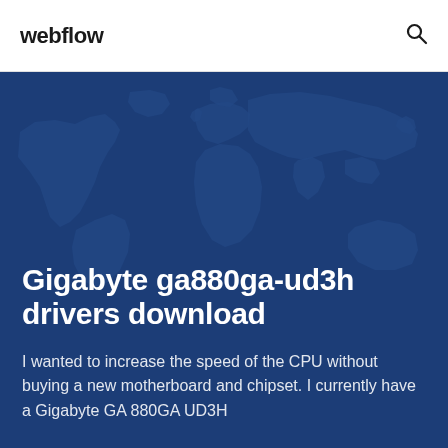webflow
Gigabyte ga880ga-ud3h drivers download
I wanted to increase the speed of the CPU without buying a new motherboard and chipset. I currently have a Gigabyte GA 880GA UD3H